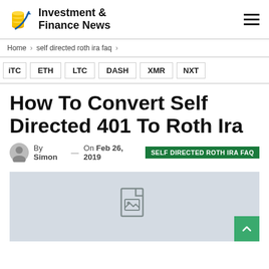Investment & Finance News
Home > self directed roth ira faq >
iTC
ETH
LTC
DASH
XMR
NXT
How To Convert Self Directed 401 To Roth Ira
By Simon — On Feb 26, 2019  SELF DIRECTED ROTH IRA FAQ
[Figure (photo): Placeholder image with broken image icon on light gray background]